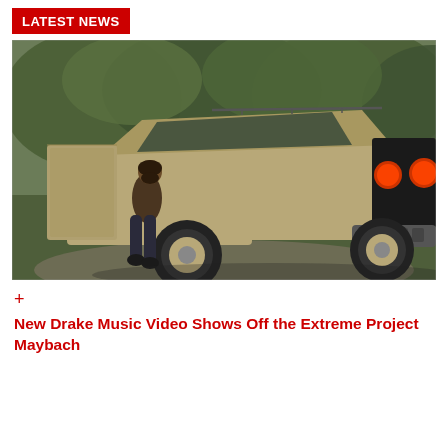LATEST NEWS
[Figure (photo): A modified off-road Maybach vehicle with tan/khaki body and large off-road tires, with a person seated in the open door, photographed outdoors with trees in background]
+
New Drake Music Video Shows Off the Extreme Project Maybach